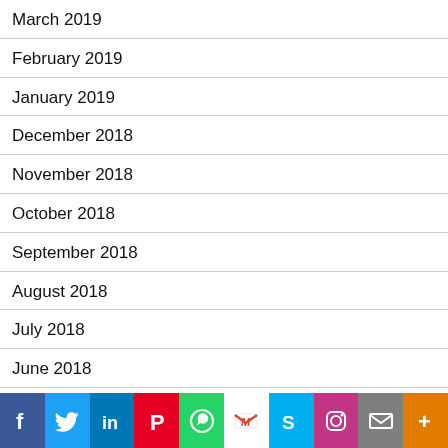March 2019
February 2019
January 2019
December 2018
November 2018
October 2018
September 2018
August 2018
July 2018
June 2018
May 2018
April 2018
[Figure (infographic): Social sharing bar with icons: Facebook, Twitter, LinkedIn, Pinterest, WhatsApp, Gmail, Skype, Instagram, Email, More]